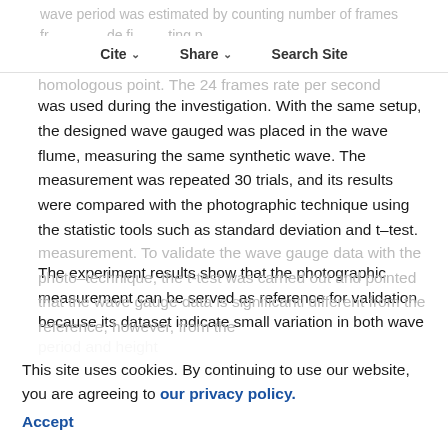wave period was estimated by counting number of frames from one defined point to the same homologous point. The 24 frames rate per second
Cite   Share   Search Site
was used during the investigation. With the same setup, the designed wave gauged was placed in the wave flume, measuring the same synthetic wave. The measurement was repeated 30 trials, and its results were compared with the photographic technique using the statistic tools such as standard deviation and t–test.
The experiment results show that the photographic measurement can be served as reference for validation because its dataset indicate small variation in both wave period and height measurement. To validate the wave gauge data with the photo-technique, the t-test was carried out and pointed that the wave gauge data is significantly different from the reference; however, from the
This site uses cookies. By continuing to use our website, you are agreeing to our privacy policy. Accept